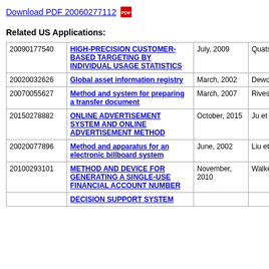Download PDF 20060277112
Related US Applications:
|  |  |  |  |
| --- | --- | --- | --- |
| 20090177540 | HIGH-PRECISION CUSTOMER-BASED TARGETING BY INDIVIDUAL USAGE STATISTICS | July, 2009 | Quatse |
| 20020032626 | Global asset information registry | March, 2002 | Dewolf et al. |
| 20070055627 | Method and system for preparing a transfer document | March, 2007 | Rivest et al. |
| 20150278882 | ONLINE ADVERTISEMENT SYSTEM AND ONLINE ADVERTISEMENT METHOD | October, 2015 | Ju et al. |
| 20020077896 | Method and apparatus for an electronic billboard system | June, 2002 | Liu et al. |
| 20100293101 | METHOD AND DEVICE FOR GENERATING A SINGLE-USE FINANCIAL ACCOUNT NUMBER | November, 2010 | Walker et al. |
|  | DECISION SUPPORT SYSTEM |  |  |